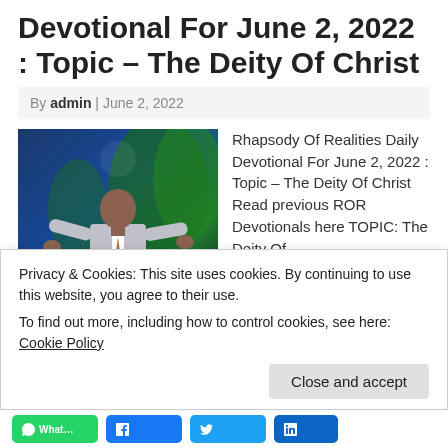Devotional For June 2, 2022 : Topic – The Deity Of Christ
By admin | June 2, 2022
[Figure (photo): A man in a grey suit gesturing on a stage with green foliage in the background]
Rhapsody Of Realities Daily Devotional For June 2, 2022 : Topic – The Deity Of Christ Read previous ROR Devotionals here TOPIC: The Deity Of
Christ Therefore the Jews sought the more to kill him
Privacy & Cookies: This site uses cookies. By continuing to use this website, you agree to their use.
To find out more, including how to control cookies, see here: Cookie Policy
Close and accept